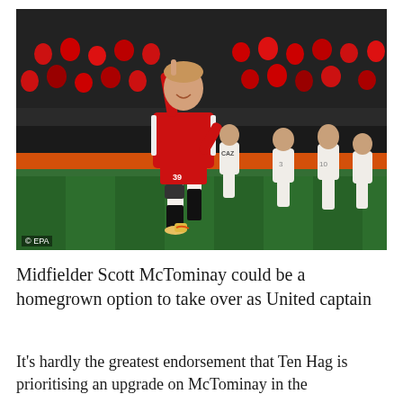[Figure (photo): Scott McTominay in Manchester United red kit celebrating with finger pointed up, number 39, jumping on a football pitch with Aston Villa players in the background at Old Trafford]
© EPA
Midfielder Scott McTominay could be a homegrown option to take over as United captain
It's hardly the greatest endorsement that Ten Hag is prioritising an upgrade on McTominay in the